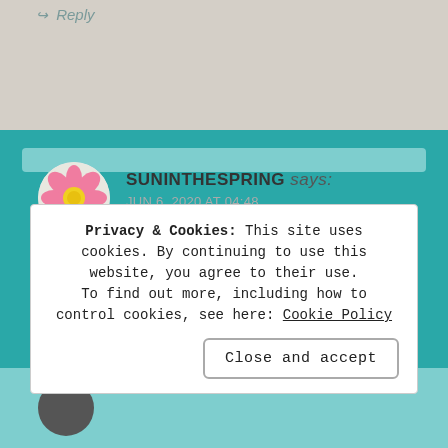↪ Reply
SUNINTHESPRING says: JUN 6, 2020 AT 04:48
I like this. It makes me feel better about myself. I am strong in the places I have healed.
★ Liked by 1 person
↪ Reply
Privacy & Cookies: This site uses cookies. By continuing to use this website, you agree to their use. To find out more, including how to control cookies, see here: Cookie Policy
Close and accept